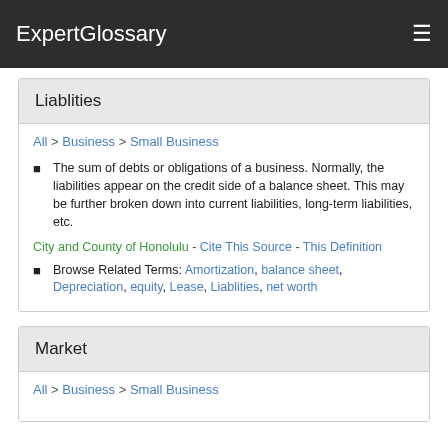ExpertGlossary
Liablities
All > Business > Small Business
The sum of debts or obligations of a business. Normally, the liabilities appear on the credit side of a balance sheet. This may be further broken down into current liabilities, long-term liabilities, etc.
City and County of Honolulu - Cite This Source - This Definition
Browse Related Terms: Amortization, balance sheet, Depreciation, equity, Lease, Liablities, net worth
Market
All > Business > Small Business